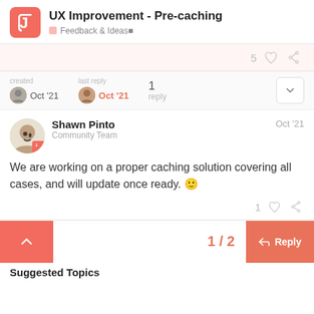UX Improvement - Pre-caching | Feedback & Ideas
5 likes, share link
created Oct '21 | last reply Oct '21 | 1 reply
Shawn Pinto
Community Team
Oct '21

We are working on a proper caching solution covering all cases, and will update once ready. 🙂
1 like, share link
1 / 2
Reply
Suggested Topics